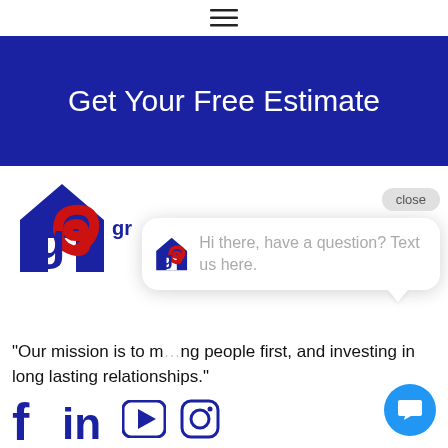≡
Get Your Free Estimate
[Figure (logo): Company logo with house icon and letter g in blue and red, followed by company name starting with 'gr']
[Figure (screenshot): Chat popup widget showing company logo icon and text: Hi there, have a question? Text us here. With a close button and blue chat FAB button.]
"Our mission is to [...] ng people first, and investing in long lasting relationships."
[Figure (infographic): Social media icons row: Facebook (f), LinkedIn (in), YouTube (play button), Instagram (camera)]